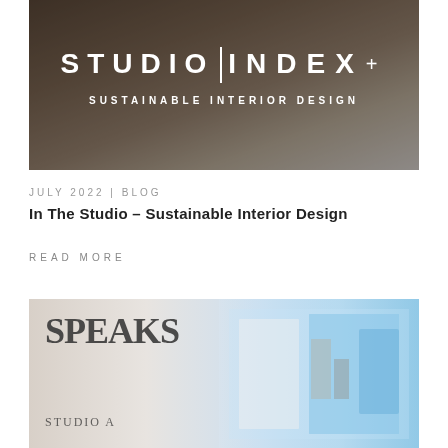[Figure (photo): Studio Index blog header image showing wooden ladder against a light background with overlaid text reading STUDIO INDEX+ and SUSTAINABLE INTERIOR DESIGN]
JULY 2022 | BLOG
In The Studio – Sustainable Interior Design
READ MORE
[Figure (photo): Blog article thumbnail image showing large text SPEAKS on left side and a blurred interior design room with blue window on right side]